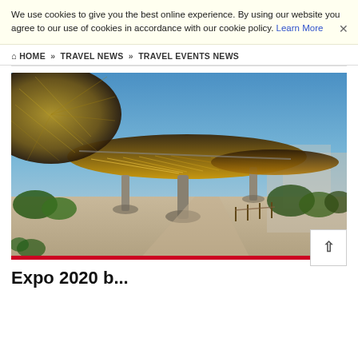We use cookies to give you the best online experience. By using our website you agree to our use of cookies in accordance with our cookie policy. Learn More
HOME » TRAVEL NEWS » TRAVEL EVENTS NEWS
[Figure (photo): Architectural photo of Expo 2020 pavilion with large disc-shaped canopy structures at dusk/evening with a blue sky, showing the illuminated latticed underside of the main canopy and surrounding trees and walkways.]
Expo 2020 b...